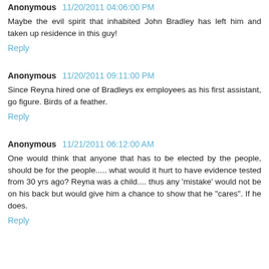Anonymous  11/20/2011 04:06:00 PM
Maybe the evil spirit that inhabited John Bradley has left him and taken up residence in this guy!
Reply
Anonymous  11/20/2011 09:11:00 PM
Since Reyna hired one of Bradleys ex employees as his first assistant, go figure. Birds of a feather.
Reply
Anonymous  11/21/2011 06:12:00 AM
One would think that anyone that has to be elected by the people, should be for the people..... what would it hurt to have evidence tested from 30 yrs ago? Reyna was a child.... thus any 'mistake' would not be on his back but would give him a chance to show that he "cares". If he does.
Reply